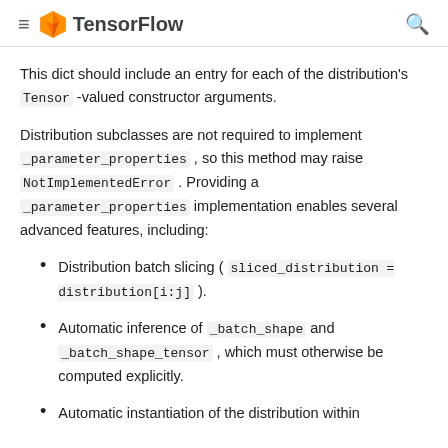TensorFlow
This dict should include an entry for each of the distribution's Tensor -valued constructor arguments.
Distribution subclasses are not required to implement _parameter_properties , so this method may raise NotImplementedError . Providing a _parameter_properties implementation enables several advanced features, including:
Distribution batch slicing ( sliced_distribution = distribution[i:j] ).
Automatic inference of _batch_shape and _batch_shape_tensor , which must otherwise be computed explicitly.
Automatic instantiation of the distribution within TFPl...